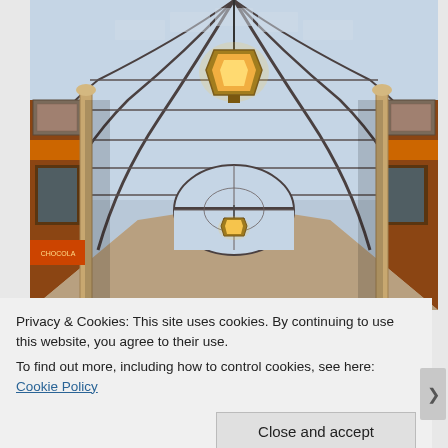[Figure (photo): Interior of Leadenhall Market in London. Looking down a long covered arcade with a vaulted glass and iron roof. Ornate Victorian architecture with decorative shop fronts on both sides. A large pendant lantern hangs from the ceiling in the foreground, and another is visible further down the arcade. The far end shows a large arched glass window. The roof has curved ribs and gridded glass panels.]
Privacy & Cookies: This site uses cookies. By continuing to use this website, you agree to their use.
To find out more, including how to control cookies, see here: Cookie Policy
Close and accept